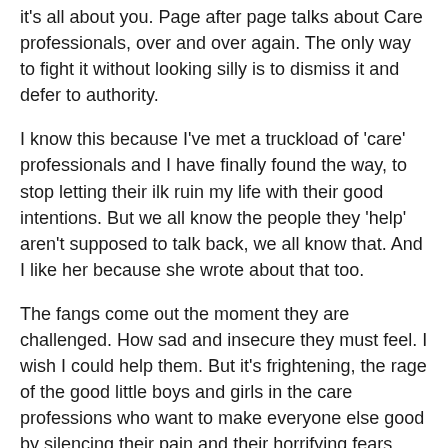it's all about you. Page after page talks about Care professionals, over and over again. The only way to fight it without looking silly is to dismiss it and defer to authority.
I know this because I've met a truckload of 'care' professionals and I have finally found the way, to stop letting their ilk ruin my life with their good intentions. But we all know the people they 'help' aren't supposed to talk back, we all know that. And I like her because she wrote about that too.
The fangs come out the moment they are challenged. How sad and insecure they must feel. I wish I could help them. But it's frightening, the rage of the good little boys and girls in the care professions who want to make everyone else good by silencing their pain and their horrifying fears.
Alex Howard also wrote a recent book about the